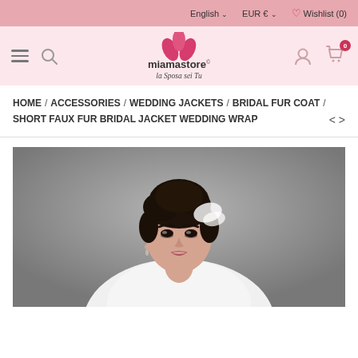English  EUR €  ♡ Wishlist (0)
[Figure (logo): Miamastore logo with pink flower/petals icon and tagline 'la Sposa sei Tu']
HOME / ACCESSORIES / WEDDING JACKETS / BRIDAL FUR COAT / SHORT FAUX FUR BRIDAL JACKET WEDDING WRAP
[Figure (photo): A bride with dark upswept hair, wearing a white faux fur bridal jacket/wrap, photographed against a grey background. Close-up portrait showing face and upper body.]